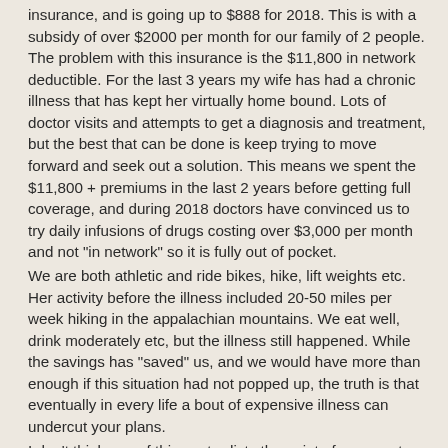insurance, and is going up to $888 for 2018. This is with a subsidy of over $2000 per month for our family of 2 people. The problem with this insurance is the $11,800 in network deductible. For the last 3 years my wife has had a chronic illness that has kept her virtually home bound. Lots of doctor visits and attempts to get a diagnosis and treatment, but the best that can be done is keep trying to move forward and seek out a solution. This means we spent the $11,800 + premiums in the last 2 years before getting full coverage, and during 2018 doctors have convinced us to try daily infusions of drugs costing over $3,000 per month and not "in network" so it is fully out of pocket.
We are both athletic and ride bikes, hike, lift weights etc. Her activity before the illness included 20-50 miles per week hiking in the appalachian mountains. We eat well, drink moderately etc, but the illness still happened. While the savings has "saved" us, and we would have more than enough if this situation had not popped up, the truth is that eventually in every life a bout of expensive illness can undercut your plans.
I don't think any of this contradicts the point of your post, but it underlines that expensive non negotiable things can happen. And while I think the medical system in the U.S. is totally screwed up and way too costly, the options are limited if you happen to be stuck living here. In these cases seeking out employment for insurance may be the